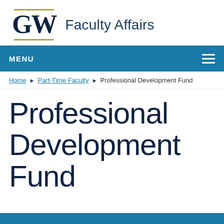GW Faculty Affairs
MENU
Home ▶ Part-Time Faculty ▶ Professional Development Fund
Professional Development Fund